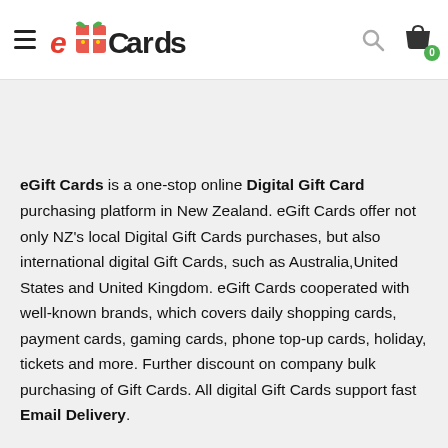eGift Cards — navigation header with logo, search, and cart
eGift Cards is a one-stop online Digital Gift Card purchasing platform in New Zealand. eGift Cards offer not only NZ's local Digital Gift Cards purchases, but also international digital Gift Cards, such as Australia,United States and United Kingdom. eGift Cards cooperated with well-known brands, which covers daily shopping cards, payment cards, gaming cards, phone top-up cards, holiday, tickets and more. Further discount on company bulk purchasing of Gift Cards. All digital Gift Cards support fast Email Delivery.